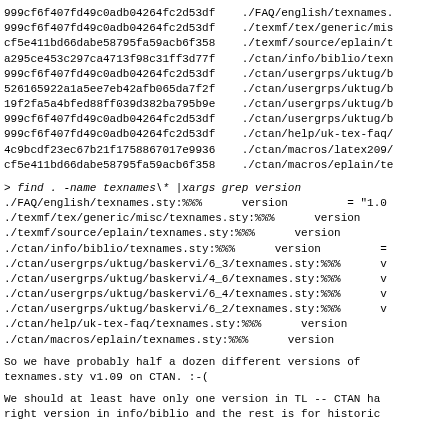999cf6f407fd49c0adb04264fc2d53df    ./FAQ/english/texnames.
999cf6f407fd49c0adb04264fc2d53df    ./texmf/tex/generic/mis
cf5e411bd66dabe58795fa59acb6f358    ./texmf/source/eplain/t
a295ce453c297ca4713f98c31ff3d77f    ./ctan/info/biblio/texn
999cf6f407fd49c0adb04264fc2d53df    ./ctan/usergrps/uktug/b
526165922a1a5ee7eb42afb065da7f2f    ./ctan/usergrps/uktug/b
19f2fa5a4bfed88ff039d382ba795b9e    ./ctan/usergrps/uktug/b
999cf6f407fd49c0adb04264fc2d53df    ./ctan/usergrps/uktug/b
999cf6f407fd49c0adb04264fc2d53df    ./ctan/help/uk-tex-faq/
4c9bcdf23ec67b21f1758867017e9936    ./ctan/macros/latex209/
cf5e411bd66dabe58795fa59acb6f358    ./ctan/macros/eplain/te
> find . -name texnames\* |xargs grep version
./FAQ/english/texnames.sty:%%%      version         = "1.0
./texmf/tex/generic/misc/texnames.sty:%%%      version
./texmf/source/eplain/texnames.sty:%%%      version
./ctan/info/biblio/texnames.sty:%%%      version         =
./ctan/usergrps/uktug/baskervi/6_3/texnames.sty:%%%      v
./ctan/usergrps/uktug/baskervi/4_6/texnames.sty:%%%      v
./ctan/usergrps/uktug/baskervi/6_4/texnames.sty:%%%      v
./ctan/usergrps/uktug/baskervi/6_2/texnames.sty:%%%      v
./ctan/help/uk-tex-faq/texnames.sty:%%%      version
./ctan/macros/eplain/texnames.sty:%%%      version
So we have probably half a dozen different versions of
texnames.sty v1.09 on CTAN. :-(
We should at least have only one version in TL -- CTAN ha
right version in info/biblio and the rest is for historic